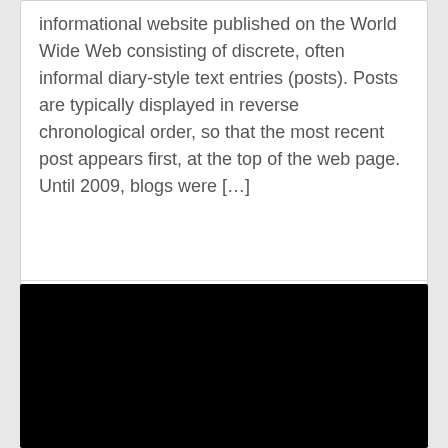informational website published on the World Wide Web consisting of discrete, often informal diary-style text entries (posts). Posts are typically displayed in reverse chronological order, so that the most recent post appears first, at the top of the web page. Until 2009, blogs were […]
VIEW MORE
[Figure (photo): Black rectangle image area]